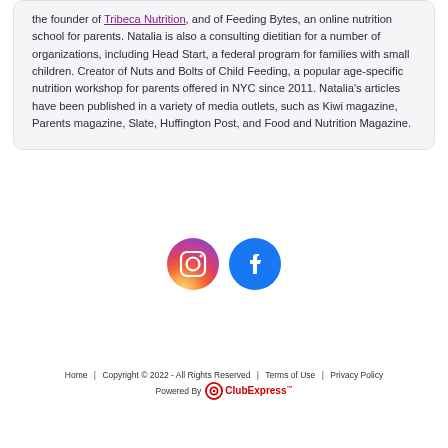the founder of Tribeca Nutrition, and of Feeding Bytes, an online nutrition school for parents. Natalia is also a consulting dietitian for a number of organizations, including Head Start, a federal program for families with small children. Creator of Nuts and Bolts of Child Feeding, a popular age-specific nutrition workshop for parents offered in NYC since 2011. Natalia's articles have been published in a variety of media outlets, such as Kiwi magazine, Parents magazine, Slate, Huffington Post, and Food and Nutrition Magazine.
[Figure (illustration): Instagram icon (gradient purple-orange circle with camera outline) and Facebook icon (blue circle with white F)]
Home  |  Copyright © 2022 - All Rights Reserved  |  Terms of Use  |  Privacy Policy
Powered By ClubExpress